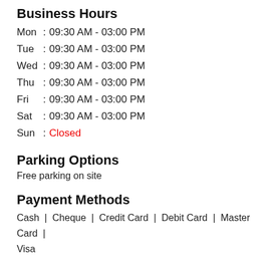Business Hours
Mon :  09:30 AM - 03:00 PM
Tue  :  09:30 AM - 03:00 PM
Wed :  09:30 AM - 03:00 PM
Thu  :  09:30 AM - 03:00 PM
Fri    :  09:30 AM - 03:00 PM
Sat   :  09:30 AM - 03:00 PM
Sun  :  Closed
Parking Options
Free parking on site
Payment Methods
Cash  |  Cheque  |  Credit Card  |  Debit Card  |  Master Card  |  Visa
Nearby Locality
Pravesh Marg   Shilp Chowk